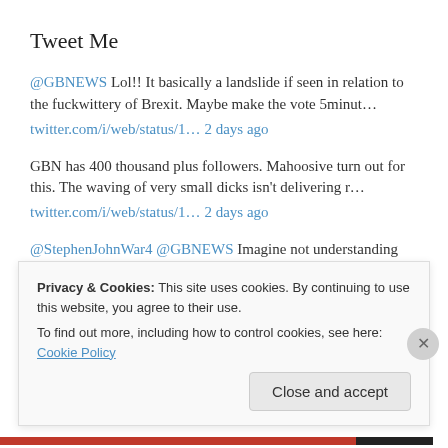Tweet Me
@GBNEWS Lol!! It basically a landslide if seen in relation to the fuckwittery of Brexit. Maybe make the vote 5minut… twitter.com/i/web/status/1… 2 days ago
GBN has 400 thousand plus followers. Mahoosive turn out for this. The waving of very small dicks isn't delivering r… twitter.com/i/web/status/1… 2 days ago
@StephenJohnWar4 @GBNEWS Imagine not understanding how this fuckery works. 2 days ago
Destroy this idiocy… twitter.com/gbnews/status/ 2 days ago
Privacy & Cookies: This site uses cookies. By continuing to use this website, you agree to their use.
To find out more, including how to control cookies, see here: Cookie Policy
Close and accept